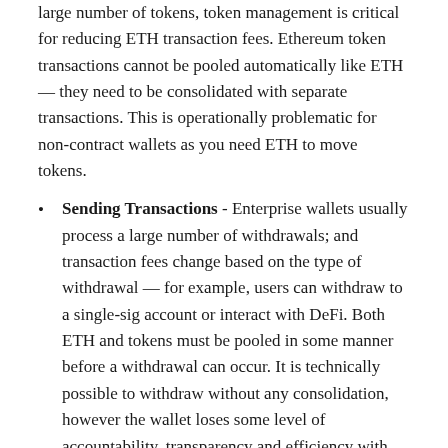large number of tokens, token management is critical for reducing ETH transaction fees. Ethereum token transactions cannot be pooled automatically like ETH — they need to be consolidated with separate transactions. This is operationally problematic for non-contract wallets as you need ETH to move tokens.
Sending Transactions - Enterprise wallets usually process a large number of withdrawals; and transaction fees change based on the type of withdrawal — for example, users can withdraw to a single-sig account or interact with DeFi. Both ETH and tokens must be pooled in some manner before a withdrawal can occur. It is technically possible to withdraw without any consolidation, however the wallet loses some level of accountability, transparency and efficiency with such a model.